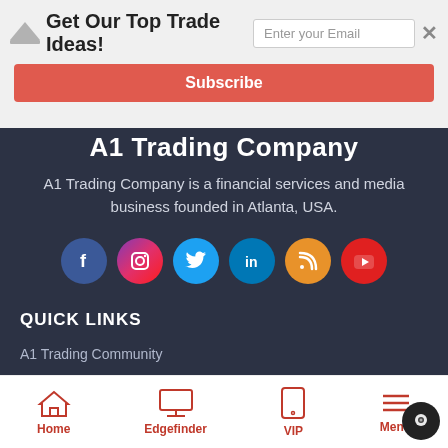Get Our Top Trade Ideas!
A1 Trading Company
A1 Trading Company is a financial services and media business founded in Atlanta, USA.
[Figure (infographic): Social media icons row: Facebook, Instagram, Twitter, LinkedIn, RSS, YouTube]
QUICK LINKS
A1 Trading Community
Get The Latest Market Analysis & Trade Setups
Our Preferred Brokers
Retail Sentiment
Home | Edgefinder | VIP | Menu